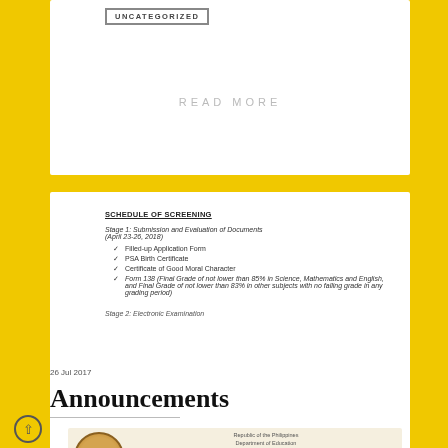UNCATEGORIZED
READ MORE
SCHEDULE OF SCREENING
Stage 1: Submission and Evaluation of Documents
(April 23-26, 2018)
Filled-up Application Form
PSA Birth Certificate
Certificate of Good Moral Character
Form 138 (Final Grade of not lower than 85% in Science, Mathematics and English, and Final Grade of not lower than 83% in other subjects with no failing grade in any grading period)
Stage 2: Electronic Examination
26 Jul 2017
Announcements
[Figure (logo): Moonwalk National High School letterhead with Department of Education logo, Republic of the Philippines, Department of Education, National Capital Region, Schools Division of Parañaque City, MOONWALK NATIONAL HIGH SCHOOL, www.moonwalknhs.edu.ph]